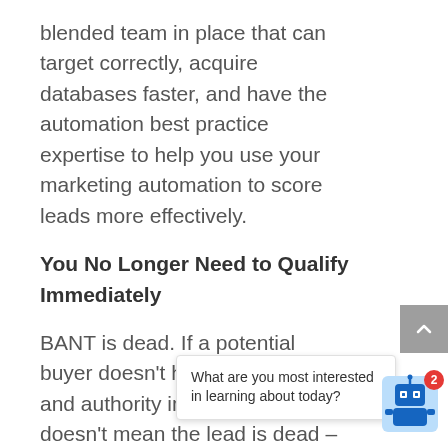blended team in place that can target correctly, acquire databases faster, and have the automation best practice expertise to help you use your marketing automation to score leads more effectively.
You No Longer Need to Qualify Immediately
BANT is dead. If a potential buyer doesn't have the budget and authority immediately, it doesn't mean the lead is dead – it simply means it may take more time to qualify. If a prospect has the need, you can now drop them into [close] an over time , t tionlin...
What are you most interested in learning about today?